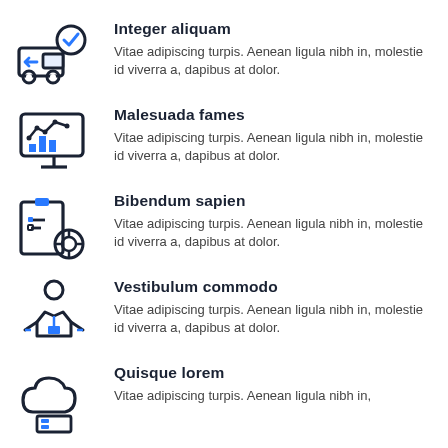Integer aliquam
Vitae adipiscing turpis. Aenean ligula nibh in, molestie id viverra a, dapibus at dolor.
Malesuada fames
Vitae adipiscing turpis. Aenean ligula nibh in, molestie id viverra a, dapibus at dolor.
Bibendum sapien
Vitae adipiscing turpis. Aenean ligula nibh in, molestie id viverra a, dapibus at dolor.
Vestibulum commodo
Vitae adipiscing turpis. Aenean ligula nibh in, molestie id viverra a, dapibus at dolor.
Quisque lorem
Vitae adipiscing turpis. Aenean ligula nibh in,